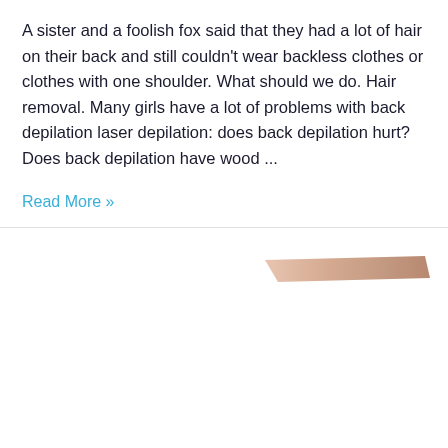A sister and a foolish fox said that they had a lot of hair on their back and still couldn't wear backless clothes or clothes with one shoulder. What should we do. Hair removal. Many girls have a lot of problems with back depilation laser depilation: does back depilation hurt? Does back depilation have wood ...
Read More »
[Figure (photo): Partial view of a skin-toned surface (appears to be human skin or a skin-like strip), showing a diagonal light pinkish-beige shape against a white background, positioned in the upper-right area of the bottom section.]